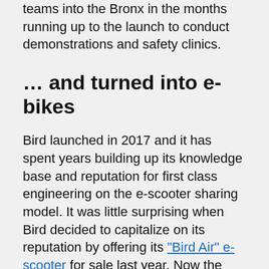teams into the Bronx in the months running up to the launch to conduct demonstrations and safety clinics.
… and turned into e-bikes
Bird launched in 2017 and it has spent years building up its knowledge base and reputation for first class engineering on the e-scooter sharing model. It was little surprising when Bird decided to capitalize on its reputation by offering its "Bird Air" e-scooter for sale last year. Now the company is turning its attention to e-bikes, and it is moving more quickly. Earlier this summer Bird launched its first